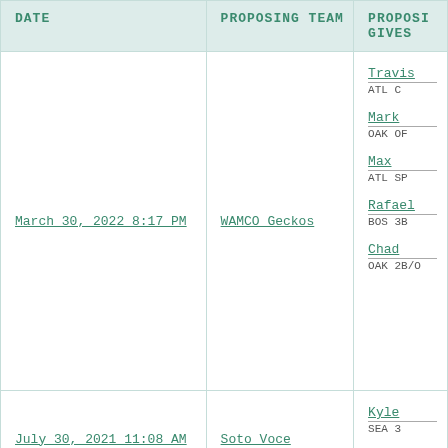| DATE | PROPOSING TEAM | PROPOSI...
GIVES |
| --- | --- | --- |
| March 30, 2022 8:17 PM | WAMCO Geckos | Travis
ATL C
Mark
OAK OF
Max
ATL SP
Rafael
BOS 3B
Chad
OAK 2B/O |
| July 30, 2021 11:08 AM | Soto Voce | Kyle
SEA 3 |
| April 28, 2021 7:48 PM | October04 |  |